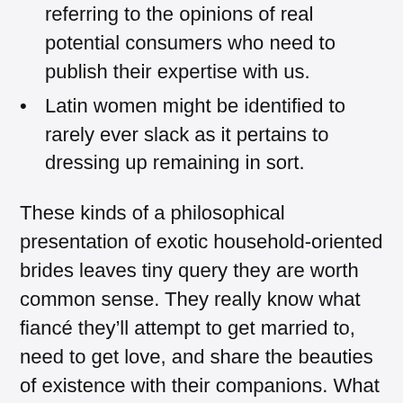referring to the opinions of real potential consumers who need to publish their expertise with us.
Latin women might be identified to rarely ever slack as it pertains to dressing up remaining in sort.
These kinds of a philosophical presentation of exotic household-oriented brides leaves tiny query they are worth common sense. They really know what fiancé they'll attempt to get married to, need to get love, and share the beauties of existence with their companions. What characterizes Latin mail-order brides is their meekness, fortitude, and adaptability. Such traits permit them to find new alternatives in life, modify to distinctive conditions, meet many people, and make associates. In home life, this kind of options help to unravel any conflicts in a